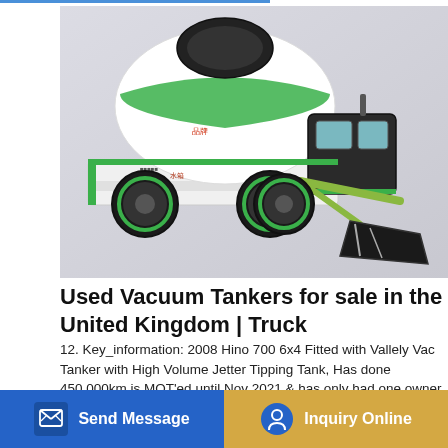[Figure (photo): A green and white self-loading concrete mixer truck with a large mixing drum and front-mounted loading bucket, photographed against a light grey background.]
Used Vacuum Tankers for sale in the United Kingdom | Truck
12. Key_information: 2008 Hino 700 6x4 Fitted with Vallely Vac Tanker with High Volume Jetter Tipping Tank, Has done 450,000km is MOT'ed until Nov 2021 & has only had one owner since new in Good order throughout. Priced at £14,995. Mac... Leicestershire, United Kingdom LE00 2† †.